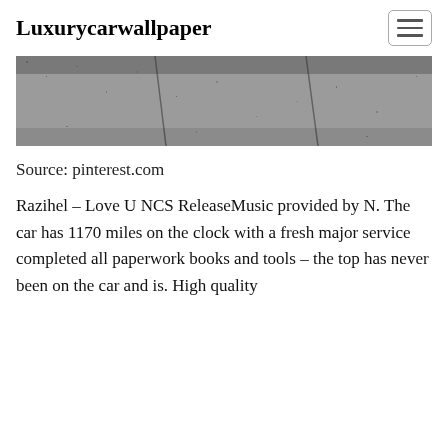Luxurycarwallpaper
[Figure (photo): Stone or granite tile surface, gray textured pavement close-up]
Source: pinterest.com
Razihel – Love U NCS ReleaseMusic provided by N. The car has 1170 miles on the clock with a fresh major service completed all paperwork books and tools – the top has never been on the car and is. High quality